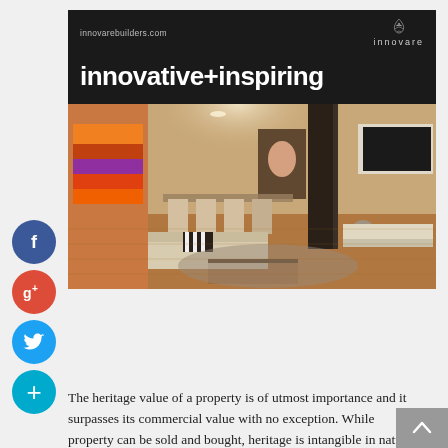[Figure (screenshot): Innovare builders website screenshot showing black header with 'innovarebuilders.com' URL and Innovare logo, bold white text 'innovative+inspiring', and interior photo of a modern living/dining room with warm lighting, colorful artwork, dining chairs, and a sofa]
[Figure (illustration): Social media sidebar with circular buttons: Facebook (blue), Google+ (red), Twitter (light blue), and a plus/add button (cyan)]
The heritage value of a property is of utmost importance and it surpasses its commercial value with no exception. While property can be sold and bought, heritage is intangible in nature, and it can be neither be sold nor bought. Therefore, during a renovation project, it becomes extremely important for the builder to plan